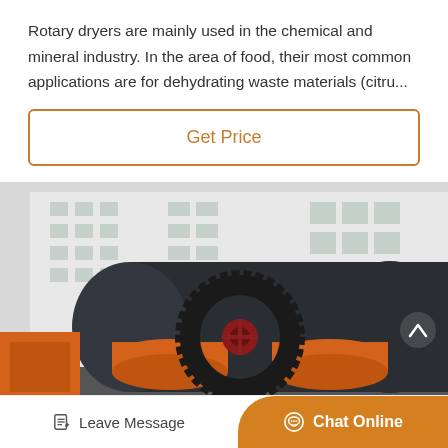Rotary dryers are mainly used in the chemical and mineral industry. In the area of food, their most common applications are for dehydrating waste materials (citru...
Get Price
[Figure (photo): Industrial rotary dryer equipment photographed outdoors in front of a factory building. Large cylindrical dark steel drum with orange support rings and drive gear mechanism visible.]
Leave Message
Chat Online